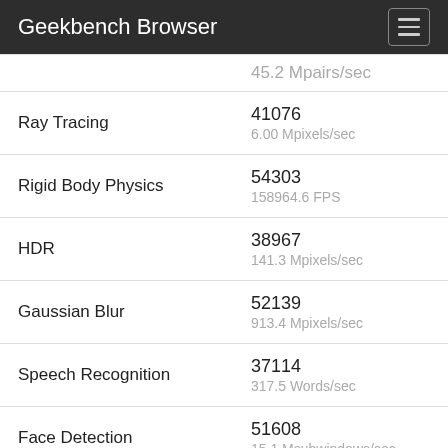Geekbench Browser
| Benchmark | Score / Unit |
| --- | --- |
|  | 45.2 Mpairs/sec |
| Ray Tracing | 41076
6.00 Mpixels/sec |
| Rigid Body Physics | 54303
158964.6 FPS |
| HDR | 38967
141.3 Mpixels/sec |
| Gaussian Blur | 52139
913.4 Mpixels/sec |
| Speech Recognition | 37114
317.5 Words/sec |
| Face Detection | 51608
15.1 Msubwindows/sec |
| Memory Copy | 7940
22.0 GB/sec |
| Memory Latency | 5448
79.5 ns |